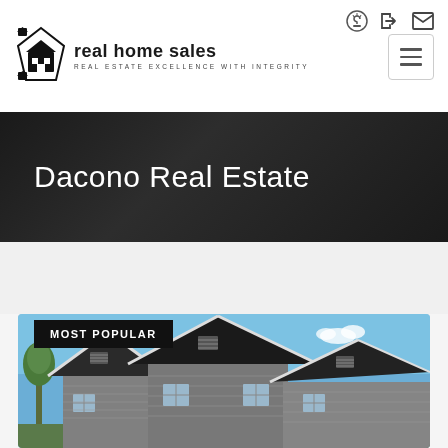[Figure (logo): Real Home Sales logo with house/key icon and tagline 'REAL ESTATE EXCELLENCE WITH INTEGRITY']
Dacono Real Estate
MOST POPULAR
[Figure (photo): Exterior photo of modern residential homes with gray siding and prominent gabled rooflines against a blue sky]